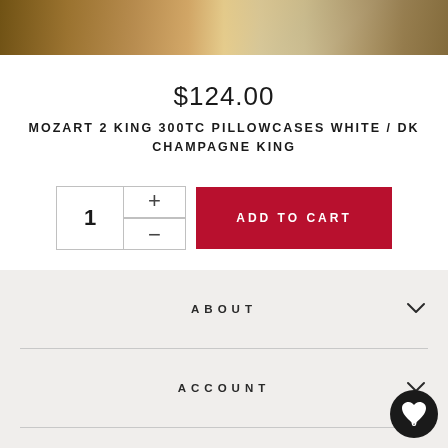[Figure (photo): Partial product photo of bed with wooden headboard and white/champagne bedding, cropped at top of page]
$124.00
MOZART 2 KING 300TC PILLOWCASES WHITE / DK CHAMPAGNE KING
[Figure (other): Quantity selector with number 1, plus and minus buttons, and a red ADD TO CART button]
ABOUT
ACCOUNT